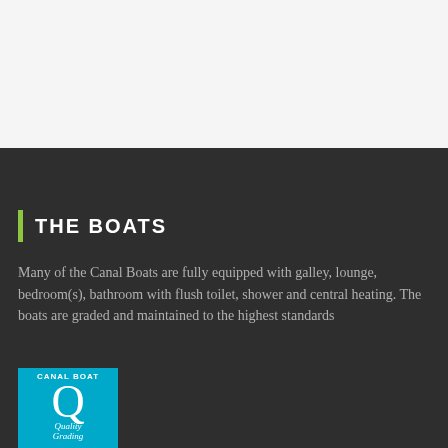THE BOATS
Many of the Canal Boats are fully equipped with galley, lounge, bedroom(s), bathroom with flush toilet, shower and central heating. The boats are graded and maintained to the highest standards
[Figure (logo): Canal Boat Quality Grading logo — blue square with white Q letter and text 'CANAL BOAT' at top, 'Quality Grading' at bottom]